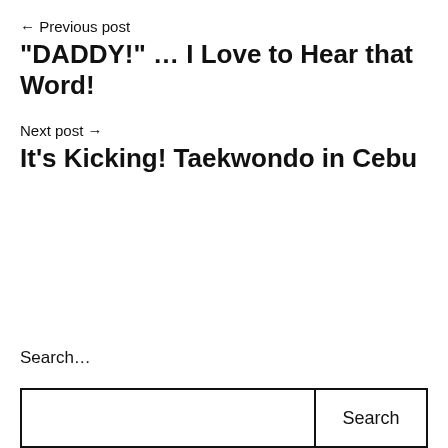← Previous post
“DADDY!” … I Love to Hear that Word!
Next post →
It’s Kicking! Taekwondo in Cebu
Search…